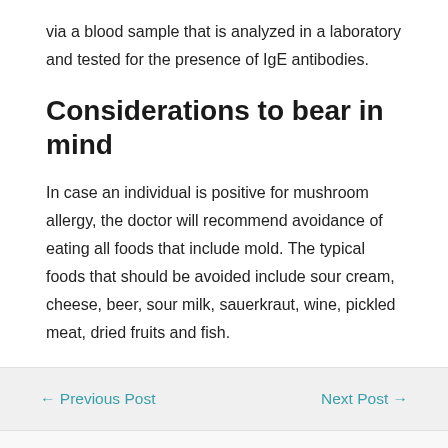via a blood sample that is analyzed in a laboratory and tested for the presence of IgE antibodies.
Considerations to bear in mind
In case an individual is positive for mushroom allergy, the doctor will recommend avoidance of eating all foods that include mold. The typical foods that should be avoided include sour cream, cheese, beer, sour milk, sauerkraut, wine, pickled meat, dried fruits and fish.
← Previous Post   Next Post →
Leave a Comment
Your email address will not be published. Required fields are